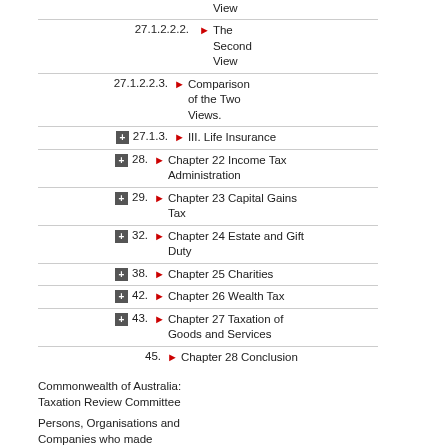27.1.2.2. Proposals
27.1.2.2.1. The First View
27.1.2.2.2. The Second View
27.1.2.2.3. Comparison of the Two Views.
27.1.3. III. Life Insurance
28. Chapter 22 Income Tax Administration
29. Chapter 23 Capital Gains Tax
32. Chapter 24 Estate and Gift Duty
38. Chapter 25 Charities
42. Chapter 26 Wealth Tax
43. Chapter 27 Taxation of Goods and Services
45. Chapter 28 Conclusion
Commonwealth of Australia: Taxation Review Committee
Persons, Organisations and Companies who made Submissions to the Committee